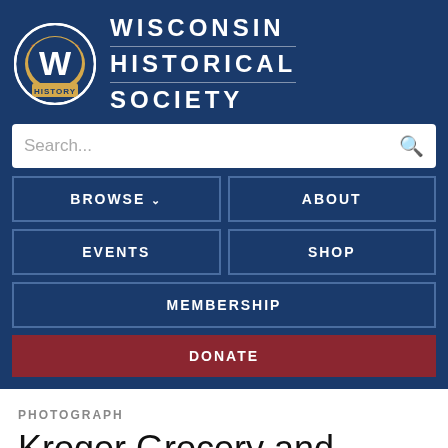[Figure (logo): Wisconsin Historical Society logo — circular badge with stylized W and 'HISTORY' banner]
WISCONSIN HISTORICAL SOCIETY
Search...
BROWSE
ABOUT
EVENTS
SHOP
MEMBERSHIP
DONATE
PHOTOGRAPH
Kroger Grocery and Baking Co. Warehouse